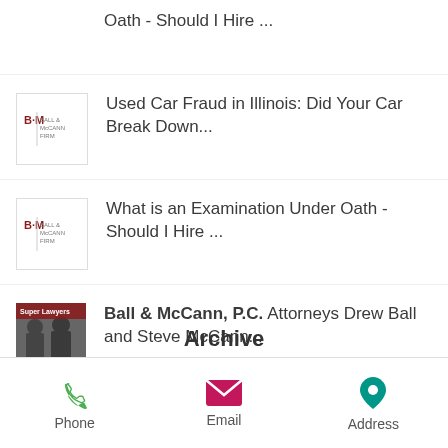Oath - Should I Hire ...
Used Car Fraud in Illinois: Did Your Car Break Down...
What is an Examination Under Oath - Should I Hire ...
Ball & McCann, P.C. Attorneys Drew Ball and Steve McCann...
Archive
Phone   Email   Address